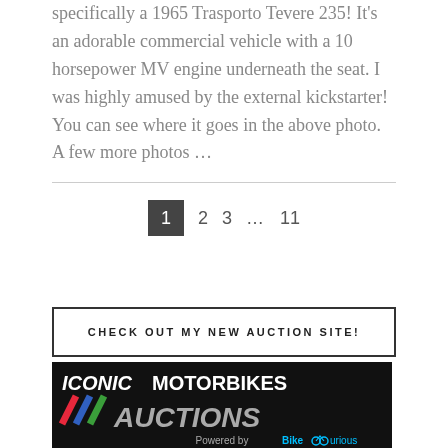specifically a 1965 Trasporto Tevere 235! It's an adorable commercial vehicle with a 10 horsepower MV engine underneath the seat. I was highly amused by the external kickstarter! You can see where it goes in the above photo. A few more photos …
1  2  3  …  11
CHECK OUT MY NEW AUCTION SITE!
[Figure (logo): Iconic Motorbikes Auctions logo on black background, with colored diagonal slashes (red, blue, green) and 'Powered by BikeCurious' tagline in cyan]